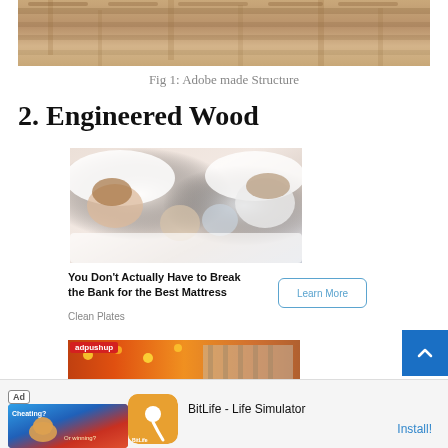[Figure (photo): Partial view of an adobe made structure, showing mud brick walls and flat roof construction, sandy brown tones]
Fig 1: Adobe made Structure
2. Engineered Wood
[Figure (photo): Advertisement image showing a family (mother, father, and two young children) sleeping together in a white bed]
You Don't Actually Have to Break the Bank for the Best Mattress
Clean Plates
[Figure (photo): Second advertisement image strip showing a fairground/carnival scene with orange and red colors, adpushup label overlay]
[Figure (photo): Bottom ad banner: Ad badge, BitLife - Life Simulator app advertisement with Install button]